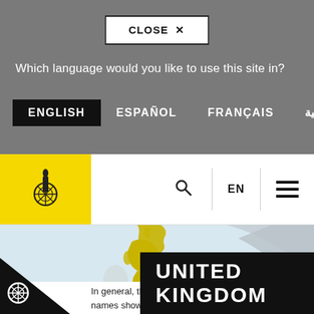CLOSE ×
Which language would you like to use this site in?
ENGLISH
ESPAÑOL
FRANÇAIS
العربية
[Figure (logo): Amnesty International candle logo on yellow background]
EN
[Figure (map): Map showing United Kingdom highlighted in yellow]
UNITED KINGDOM
In general, the boundaries and names shown and the ignations used on the maps do not imply any position by